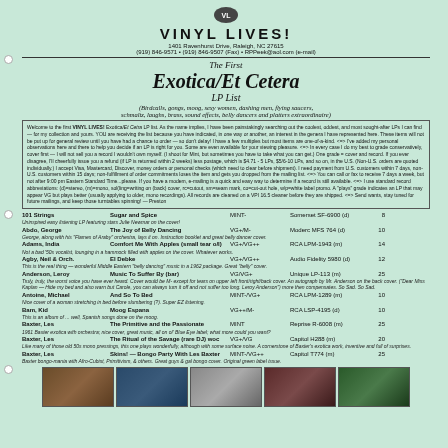[Figure (logo): Small circular logo/seal at top center]
VINYL LIVES!
1401 Ravenhurst Drive, Raleigh, NC 27615
(919) 846-9571 • (919) 846-9507 (Fax) • RPPeek@aol.com (e-mail)
The First
Exotica/Et Cetera
LP List
(Birdcalls, gongs, moog, sexy women, dashing men, flying saucers, schmaltz, laughs, brass, sound effects, belly dancers and platters extraordinaire)
Welcome to the first VINYL LIVES! Exotica/Et Cetra LP list. As the name implies, I have been painstakingly searching out the coolest, oddest, and most sought-after LPs I can find — for my collection and yours. YOU are receiving the list because you have indicated, in one way or another, an interest in the genera I have represented here...
101 Strings | Sugar and Spice | MINT- | Somerset SF-6900 (d) | 8
Abdo, George | The Joy of Belly Dancing | VG+/M- | Moderc MFS 764 (d) | 10
Adams, India | Comfort Me With Apples (small tear o/l) | VG+/VG++ | RCA LPM-1943 (m) | 14
Agby, Neil & Orch. | El Debke | VG+/VG++ | Audio Fidelity 5980 (d) | 12
Anderson, Leroy | Music To Suffer By (bar) | VG/VG+ | Unique LP-113 (m) | 25
Antoine, Michael | And So To Bed | MINT-/VG+ | RCA LPM-1289 (m) | 10
Bam, Kid | Moog Espana | VG++/M- | RCA LSP-4195 (d) | 10
Baxter, Les | The Primitive and the Passionate | MINT | Reprise R-6008 (m) | 25
Baxter, Les | The Ritual of the Savage (rare DJ) woc | VG+/VG | Capitol H288 (m) | 20
Baxter, Les | Skins! — Bongo Party With Les Baxter | MINT-/VG++ | Capitol T774 (m) | 25
[Figure (photo): Row of 5 album cover photos at bottom of page]